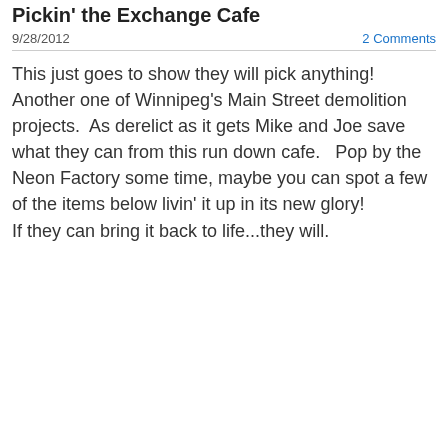Pickin' the Exchange Cafe
9/28/2012    2 Comments
This just goes to show they will pick anything!  Another one of Winnipeg's Main Street demolition projects.  As derelict as it gets Mike and Joe save what they can from this run down cafe.   Pop by the Neon Factory some time, maybe you can spot a few of the items below livin' it up in its new glory!
If they can bring it back to life...they will.